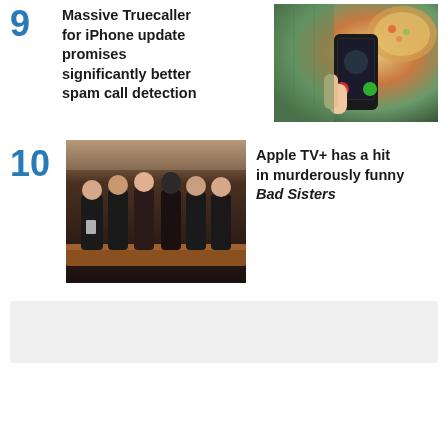9 Massive Truecaller for iPhone update promises significantly better spam call detection
[Figure (photo): Hand holding a smartphone displaying a call screen with food in the background]
10 Apple TV+ has a hit in murderously funny Bad Sisters
[Figure (photo): Group of women dressed in black standing together, appearing to be at a funeral or formal event]
[Figure (other): Advertisement banner placeholder, light gray background]